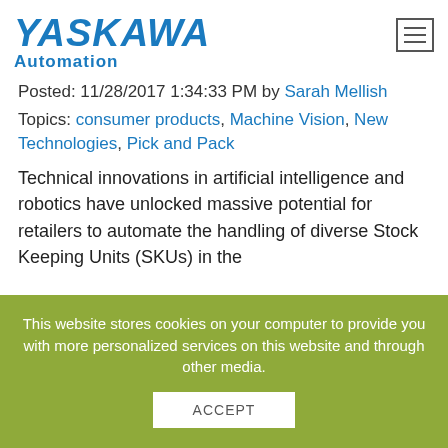YASKAWA Automation
Posted: 11/28/2017 1:34:33 PM by Sarah Mellish
Topics: consumer products, Machine Vision, New Technologies, Pick and Pack
Technical innovations in artificial intelligence and robotics have unlocked massive potential for retailers to automate the handling of diverse Stock Keeping Units (SKUs) in the
This website stores cookies on your computer to provide you with more personalized services on this website and through other media.
ACCEPT